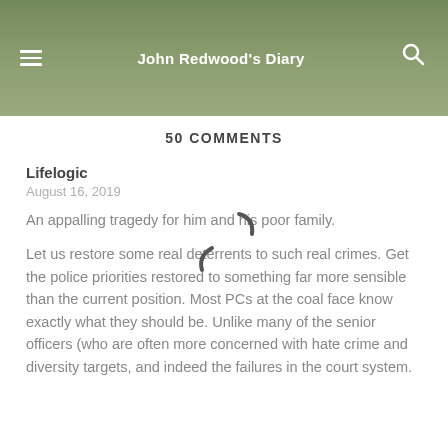John Redwood's Diary
50 COMMENTS
Lifelogic
August 16, 2019
An appalling tragedy for him and his poor family.
Let us restore some real deterrents to such real crimes. Get the police priorities restored to something far more sensible than the current position. Most PCs at the coal face know exactly what they should be. Unlike many of the senior officers (who are often more concerned with hate crime and diversity targets, and indeed the failures in the court system.